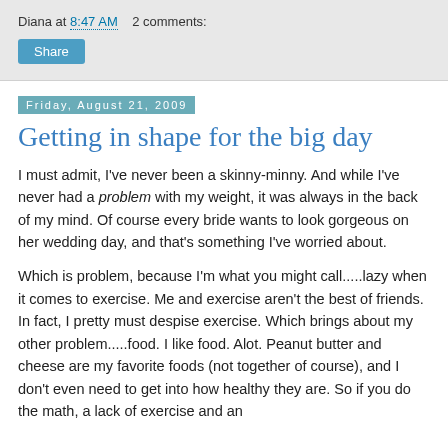Diana at 8:47 AM   2 comments:
Share
Friday, August 21, 2009
Getting in shape for the big day
I must admit, I've never been a skinny-minny. And while I've never had a problem with my weight, it was always in the back of my mind. Of course every bride wants to look gorgeous on her wedding day, and that's something I've worried about.
Which is problem, because I'm what you might call.....lazy when it comes to exercise. Me and exercise aren't the best of friends. In fact, I pretty must despise exercise. Which brings about my other problem.....food. I like food. Alot. Peanut butter and cheese are my favorite foods (not together of course), and I don't even need to get into how healthy they are. So if you do the math, a lack of exercise and an